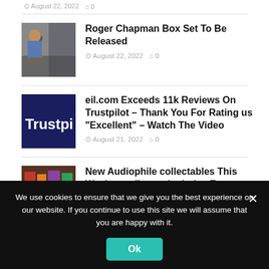August 22, 2022   0
[Figure (photo): Performer singing on stage, wearing striped shirt]
Roger Chapman Box Set To Be Released
August 22, 2022   0
[Figure (logo): Trustpilot logo on dark navy background]
eil.com Exceeds 11k Reviews On Trustpilot – Thank You For Rating us "Excellent" – Watch The Video
August 21, 2022   0
[Figure (photo): Audiophile collectables display with records and memorabilia]
New Audiophile collectables This Weeks at eil.com, includes Extreme, Beastie Boys, Donald Byrd & more
We use cookies to ensure that we give you the best experience on our website. If you continue to use this site we will assume that you are happy with it.